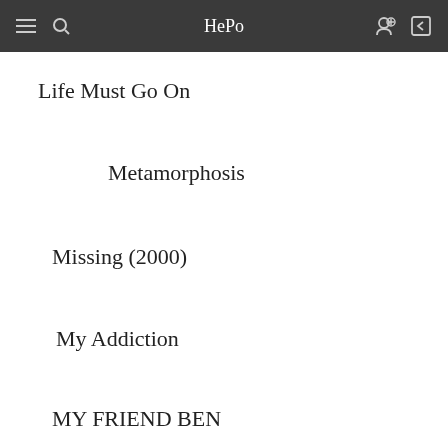HePo
Life Must Go On
Metamorphosis
Missing (2000)
My Addiction
MY FRIEND BEN